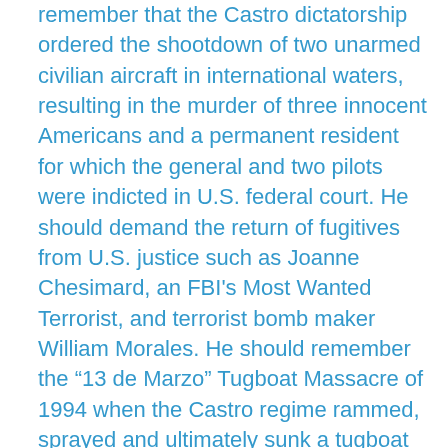remember that the Castro dictatorship ordered the shootdown of two unarmed civilian aircraft in international waters, resulting in the murder of three innocent Americans and a permanent resident for which the general and two pilots were indicted in U.S. federal court. He should demand the return of fugitives from U.S. justice such as Joanne Chesimard, an FBI's Most Wanted Terrorist, and terrorist bomb maker William Morales. He should remember the “13 de Marzo” Tugboat Massacre of 1994 when the Castro regime rammed, sprayed and ultimately sunk a tugboat of 72 men, women and children who were attempting to escape Cuba in search of freedom. 41 perished, including 10 children. They were among the over a million Cubans who, like my family, fled totalitarianism. He should also remember the lives of those who died at the hands of the Castro regime in the past ten